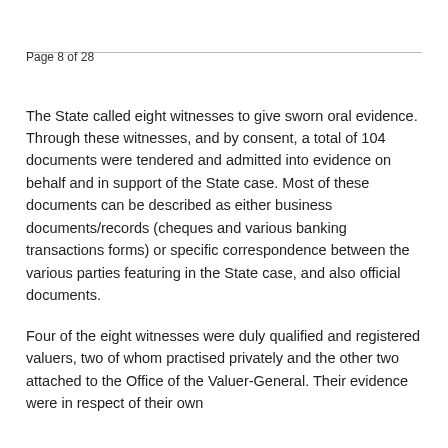Page 8 of 28
The State called eight witnesses to give sworn oral evidence. Through these witnesses, and by consent, a total of 104 documents were tendered and admitted into evidence on behalf and in support of the State case. Most of these documents can be described as either business documents/records (cheques and various banking transactions forms) or specific correspondence between the various parties featuring in the State case, and also official documents.
Four of the eight witnesses were duly qualified and registered valuers, two of whom practised privately and the other two attached to the Office of the Valuer-General. Their evidence were in respect of their own